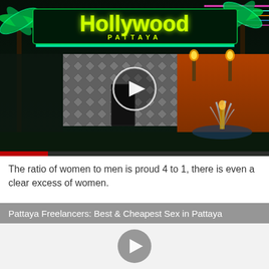[Figure (photo): Night photo of Hollywood Pattaya venue with neon signs, palm trees, and fountain, shown as a video thumbnail with play button overlay]
The ratio of women to men is proud 4 to 1, there is even a clear excess of women.
Pattaya Freelancers: Best & Cheapest Sex in Pattaya
[Figure (photo): Second video thumbnail showing a blank/white background with a gray play button]